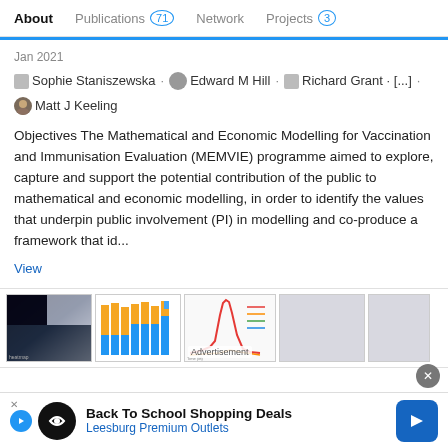About  |  Publications 71  |  Network  |  Projects 3
Jan 2021
Sophie Staniszewska · Edward M Hill · Richard Grant · [...] · Matt J Keeling
Objectives The Mathematical and Economic Modelling for Vaccination and Immunisation Evaluation (MEMVIE) programme aimed to explore, capture and support the potential contribution of the public to mathematical and economic modelling, in order to identify the values that underpin public involvement (PI) in modelling and co-produce a framework that id...
View
[Figure (screenshot): Row of five thumbnail images: a dark heatmap/contour chart, a stacked bar chart with orange and blue colors, a line chart with a red peak labeled Advertisement, and two gray placeholder boxes.]
Back To School Shopping Deals
Leesburg Premium Outlets